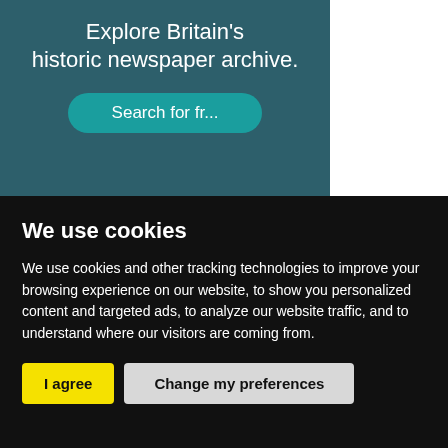[Figure (screenshot): Teal/dark-green banner advertising Britain's historic newspaper archive with a teal search button partially visible]
We use cookies
We use cookies and other tracking technologies to improve your browsing experience on our website, to show you personalized content and targeted ads, to analyze our website traffic, and to understand where our visitors are coming from.
I agree | Change my preferences